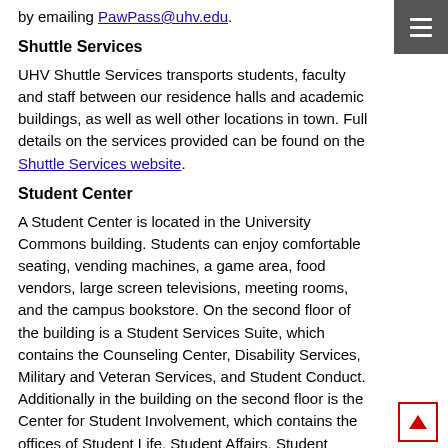by emailing PawPass@uhv.edu.
Shuttle Services
UHV Shuttle Services transports students, faculty and staff between our residence halls and academic buildings, as well as well other locations in town. Full details on the services provided can be found on the Shuttle Services website.
Student Center
A Student Center is located in the University Commons building. Students can enjoy comfortable seating, vending machines, a game area, food vendors, large screen televisions, meeting rooms, and the campus bookstore. On the second floor of the building is a Student Services Suite, which contains the Counseling Center, Disability Services, Military and Veteran Services, and Student Conduct. Additionally in the building on the second floor is the Center for Student Involvement, which contains the offices of Student Life, Student Affairs, Student Government Association, and The Den (resource area for student organizations).